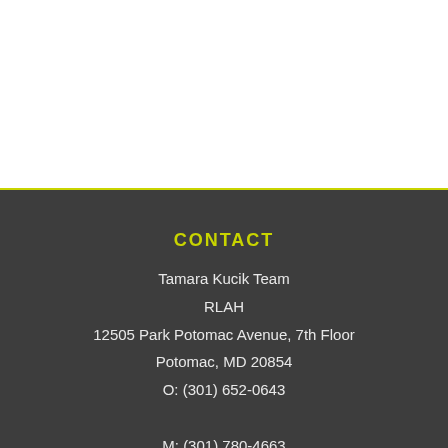CONTACT
Tamara Kucik Team
RLAH
12505 Park Potomac Avenue, 7th Floor
Potomac, MD 20854
O: (301) 652-0643
M: (301) 780-4663